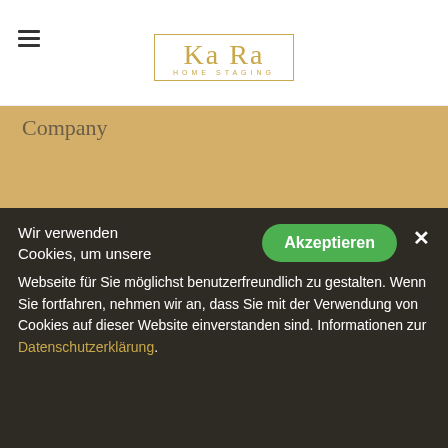[Figure (logo): KaRa Home Staging logo — stylized script text inside a gold rectangle border, with 'HOME STAGING' subtitle]
Company
ADD SLIDER TO BANNER GRIDS
Wir verwenden Cookies, um unsere Webseite für Sie möglichst benutzerfreundlich zu gestalten. Wenn Sie fortfahren, nehmen wir an, dass Sie mit der Verwendung von Cookies auf dieser Website einverstanden sind. Informationen zur Datenschutzerklärung.